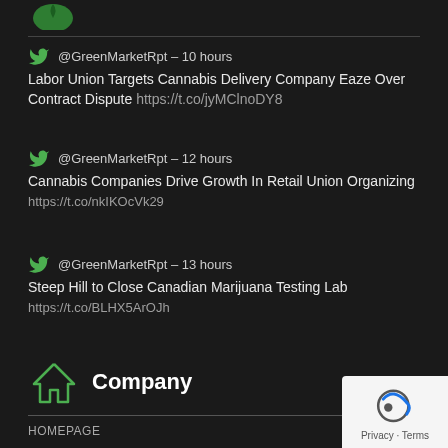[Figure (logo): Green cannabis leaf logo at top]
@GreenMarketRpt – 10 hours
Labor Union Targets Cannabis Delivery Company Eaze Over Contract Dispute https://t.co/jyMClnoDY8
@GreenMarketRpt – 12 hours
Cannabis Companies Drive Growth In Retail Union Organizing https://t.co/nkIKOcVk29
@GreenMarketRpt – 13 hours
Steep Hill to Close Canadian Marijuana Testing Lab https://t.co/BLHX5ArOJh
Company
HOMEPAGE   ARTICLES